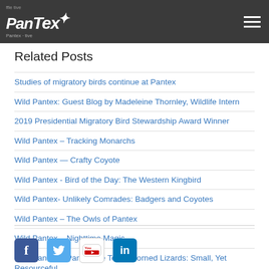Pantex
Related Posts
Studies of migratory birds continue at Pantex
Wild Pantex: Guest Blog by Madeleine Thornley, Wildlife Intern
2019 Presidential Migratory Bird Stewardship Award Winner
Wild Pantex – Tracking Monarchs
Wild Pantex — Crafty Coyote
Wild Pantex - Bird of the Day: The Western Kingbird
Wild Pantex- Unlikely Comrades: Badgers and Coyotes
Wild Pantex – The Owls of Pantex
Wild Pantex – Nighttime Magic
Wild Pantex – Panhandle Texas Horned Lizards: Small, Yet Resourceful
View All Press Releases
[Figure (other): Social media icons: Facebook, Twitter, YouTube, LinkedIn]